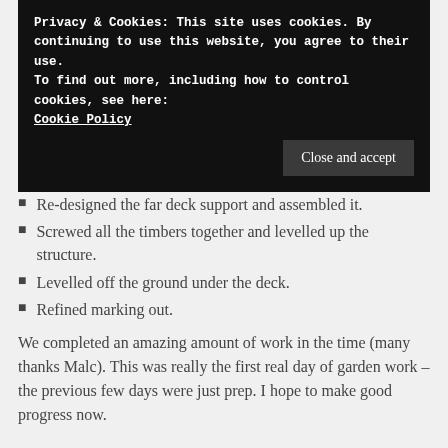Privacy & Cookies: This site uses cookies. By continuing to use this website, you agree to their use.
To find out more, including how to control cookies, see here: Cookie Policy
Close and accept
Re-designed the far deck support and assembled it.
Screwed all the timbers together and levelled up the structure.
Levelled off the ground under the deck.
Refined marking out.
We completed an amazing amount of work in the time (many thanks Malc). This was really the first real day of garden work – the previous few days were just prep. I hope to make good progress now.